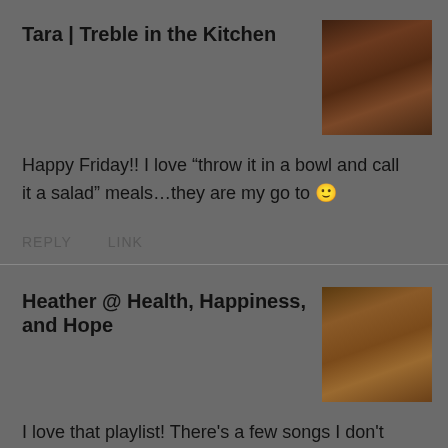Tara | Treble in the Kitchen
Happy Friday!! I love “throw it in a bowl and call it a salad” meals…they are my go to 🙂
REPLY   LINK
Heather @ Health, Happiness, and Hope
I love that playlist! There's a few songs I don't know on there that I need to check out. Thank you for sharing it!
REPLY   LINK